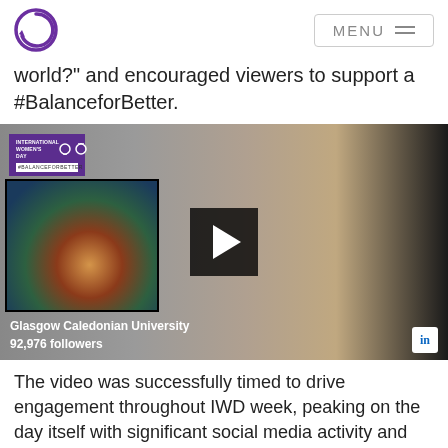GCU logo + MENU
world?" and encouraged viewers to support a #BalanceforBetter.
[Figure (screenshot): Video thumbnail showing a woman with glasses and blonde hair in front of an artwork. An IWD '#BalanceforBetter' banner is visible top-left. A play button overlay is in the center. Bottom overlay shows 'Glasgow Caledonian University 92,976 followers' and a LinkedIn icon.]
The video was successfully timed to drive engagement throughout IWD week, peaking on the day itself with significant social media activity and web content. GCU also